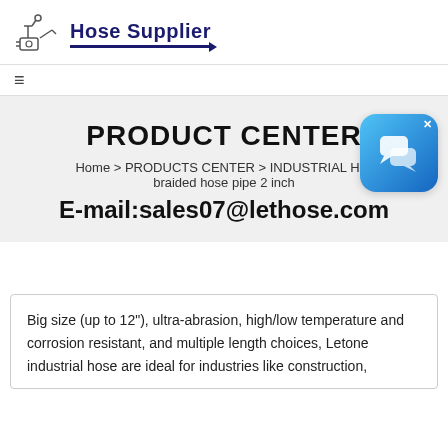Hose Supplier
PRODUCT CENTER
Home > PRODUCTS CENTER > INDUSTRIAL H... braided hose pipe 2 inch
E-mail:sales07@lethose.com
[Figure (other): Chat bubble / customer support icon overlay in blue gradient with a speech bubble graphic and X close button]
Big size (up to 12"), ultra-abrasion, high/low temperature and corrosion resistant, and multiple length choices, Letone industrial hose are ideal for industries like construction,